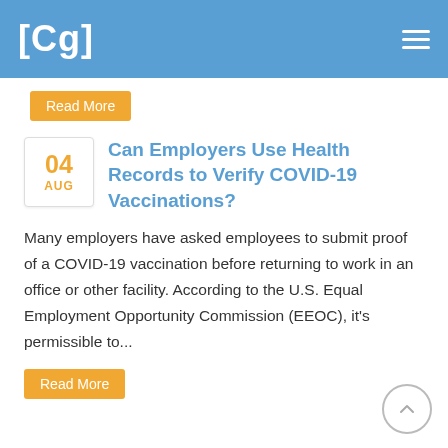[Cg]
Read More
Can Employers Use Health Records to Verify COVID-19 Vaccinations?
Many employers have asked employees to submit proof of a COVID-19 vaccination before returning to work in an office or other facility. According to the U.S. Equal Employment Opportunity Commission (EEOC), it's permissible to...
Read More